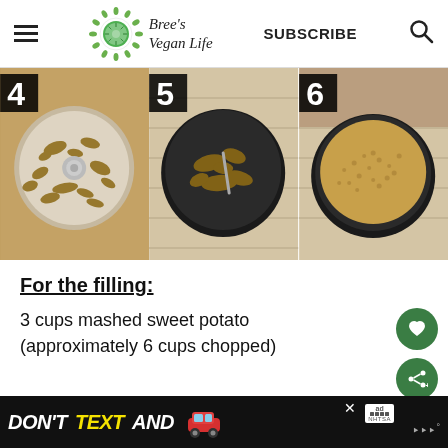Bree's Vegan Life — SUBSCRIBE
[Figure (photo): Three-step process photos: step 4 shows food processor bowl with chopped nut mixture, step 5 shows mixture placed in a dark round springform pan, step 6 shows mixture evenly pressed flat in the dark round pan]
For the filling:
3 cups mashed sweet potato (approximately 6 cups chopped)
[Figure (other): Advertisement banner: DON'T TEXT AND [car emoji image] with ad badge and NHTSA logo]